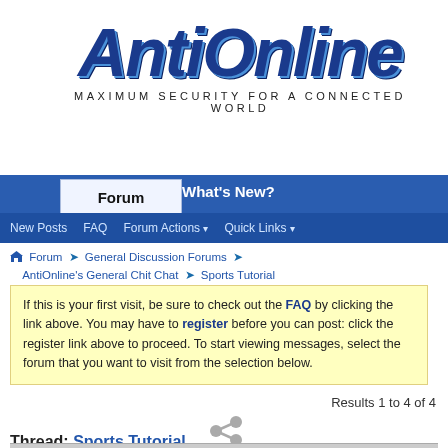[Figure (logo): AntiOnline logo with stylized blue italic text and tagline 'Maximum Security for a Connected World']
Forum | What's New?
New Posts  FAQ  Forum Actions ▾  Quick Links ▾
Forum ➤ General Discussion Forums ➤ AntiOnline's General Chit Chat ➤ Sports Tutorial
If this is your first visit, be sure to check out the FAQ by clicking the link above. You may have to register before you can post: click the register link above to proceed. To start viewing messages, select the forum that you want to visit from the selection below.
Results 1 to 4 of 4
Thread: Sports Tutorial